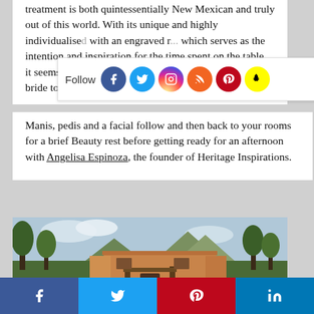treatment is both quintessentially New Mexican and truly out of this world. With its unique and highly individualised ... with an engraved r... which serves as the intention and inspiration for the time spent on the table, it seems to me to be the perfect treatment of choice for a bride to be!
[Figure (infographic): Follow bar with social media icons: Facebook, Twitter, Instagram, RSS, Pinterest, Snapchat]
Manis, pedis and a facial follow and then back to your rooms for a brief Beauty rest before getting ready for an afternoon with Angelisa Espinoza, the founder of Heritage Inspirations.
[Figure (photo): Adobe/pueblo-style building with wooden gate structure in foreground, surrounded by lush green trees, mountains visible in background under cloudy sky.]
[Figure (infographic): Bottom share bar with four social media buttons: Facebook (dark blue), Twitter (light blue), Pinterest (red), LinkedIn (blue)]